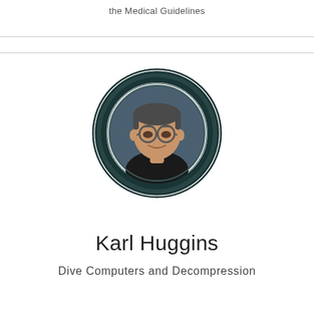the Medical Guidelines
[Figure (photo): Circular portrait photo of Karl Huggins, a middle-aged man with glasses and short dark hair, wearing a dark shirt, set against a dark teal circular frame with concentric ring decoration.]
Karl Huggins
Dive Computers and Decompression